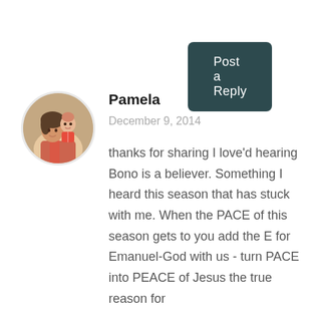Post a Reply
Pamela
December 9, 2014
[Figure (photo): Circular avatar photo of a woman with a child, both smiling]
thanks for sharing I love'd hearing Bono is a believer. Something I heard this season that has stuck with me. When the PACE of this season gets to you add the E for Emanuel-God with us - turn PACE into PEACE of Jesus the true reason for